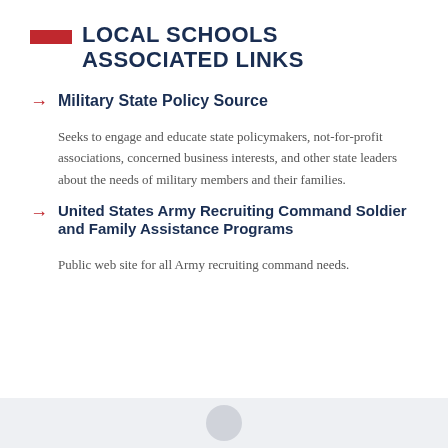LOCAL SCHOOLS ASSOCIATED LINKS
Military State Policy Source
Seeks to engage and educate state policymakers, not-for-profit associations, concerned business interests, and other state leaders about the needs of military members and their families.
United States Army Recruiting Command Soldier and Family Assistance Programs
Public web site for all Army recruiting command needs.